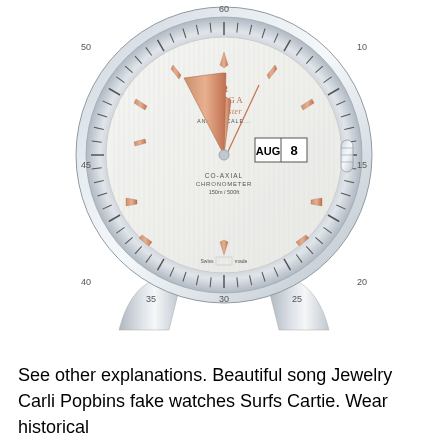[Figure (photo): An Omega Seamaster Annual Calendar watch with a silver/white dial, rose gold-colored hands and hour markers, stainless steel case. The dial shows 'OMEGA Seamaster ANNUAL CALE...' text, 'CO-AXIAL CHRONOMETER 150m/500ft', and a date window displaying 'AUG 8'. The bezel shows minute markers with numbers 25, 30, 35, 40, 45, 50, 15, 20. The crown is visible on the right side. The watch is shown without a strap, just the case and lugs.]
See other explanations. Beautiful song Jewelry Carli Popbins fake watches Surfs Cartie. Wear historical